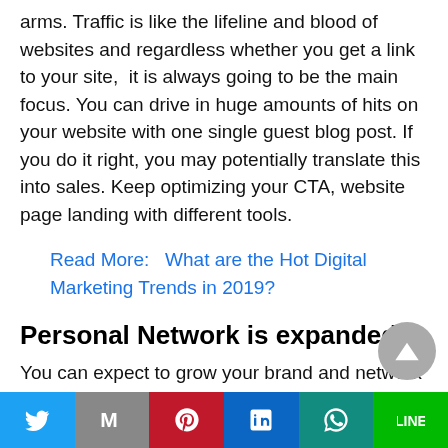arms. Traffic is like the lifeline and blood of websites and regardless whether you get a link to your site,  it is always going to be the main focus. You can drive in huge amounts of hits on your website with one single guest blog post. If you do it right, you may potentially translate this into sales. Keep optimizing your CTA, website page landing with different tools.
Read More:   What are the Hot Digital Marketing Trends in 2019?
Personal Network is expanded.
You can expect to grow your brand and network by